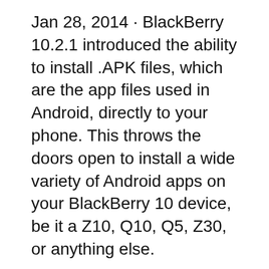Jan 28, 2014 · BlackBerry 10.2.1 introduced the ability to install .APK files, which are the app files used in Android, directly to your phone. This throws the doors open to install a wide variety of Android apps on your BlackBerry 10 device, be it a Z10, Q10, Q5, Z30, or anything else.
Nov 08, 2011 · Many people are still considering whether to go with an Android-powered phone or a BlackBerry device. Thus, in this article, we provide a guide about the pros and cons of each platform to assist Next grab hold of your BlackBerry 10 phone, in my case I used the BlackBerry Z10, and confirm that both it and your computer are linked to the same Wi-Fi